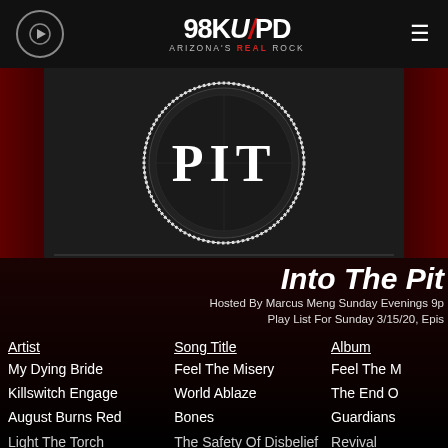98KUPD – Arizona's Real Rock – navigation bar with play button and hamburger menu
[Figure (logo): The Pit album art with circular saw-blade style logo on dark background; 'PIT' text in white gothic letters in center]
Into The Pit
Hosted By Marcus Meng Sunday Evenings 9p
Play List For Sunday 3/15/20, Epis
| Artist | Song Title | Album |
| --- | --- | --- |
| My Dying Bride | Feel The Misery | Feel The M |
| Killswitch Engage | World Ablaze | The End O |
| August Burns Red | Bones | Guardians |
| Light The Torch | The Safety Of Disbelief | Revival |